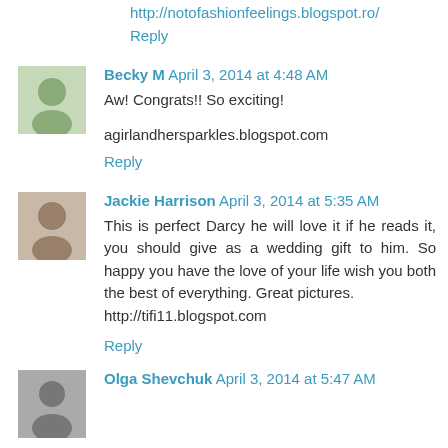http://notofashionfeelings.blogspot.ro/
Reply
Becky M April 3, 2014 at 4:48 AM
Aw! Congrats!! So exciting!
agirlandhersparkles.blogspot.com
Reply
Jackie Harrison April 3, 2014 at 5:35 AM
This is perfect Darcy he will love it if he reads it, you should give as a wedding gift to him. So happy you have the love of your life wish you both the best of everything. Great pictures.
http://tifi11.blogspot.com
Reply
Olga Shevchuk April 3, 2014 at 5:47 AM